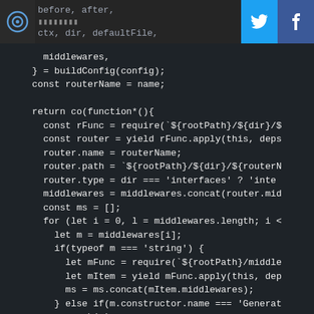before, after,
▮▮▮▮▮▮▮▮
ctx, dir, defaultFile,
[Figure (screenshot): Code screenshot showing JavaScript code with dark background. Code includes middlewares variable, buildConfig function call, routerName assignment, return co(function*()), const rFunc requiring rootPath, router assignments for name/path/type, middlewares concat, for loop over middlewares, typeof m === 'string' check, mFunc require, mItem yield, ms concat, and else if constructor name check.]
middlewares,
} = buildConfig(config);
const routerName = name;

return co(function*(){
  const rFunc = require(`${rootPath}/${dir}/$
  const router = yield rFunc.apply(this, deps
  router.name = routerName;
  router.path = `${rootPath}/${dir}/${routerN
  router.type = dir === 'interfaces' ? 'inte
  middlewares = middlewares.concat(router.mid
  const ms = [];
  for (let i = 0, l = middlewares.length; i <
    let m = middlewares[i];
    if(typeof m === 'string') {
      let mFunc = require(`${rootPath}/middle
      let mItem = yield mFunc.apply(this, dep
      ms = ms.concat(mItem.middlewares);
    } else if(m.constructor.name === 'Generat
      ms.push(m);